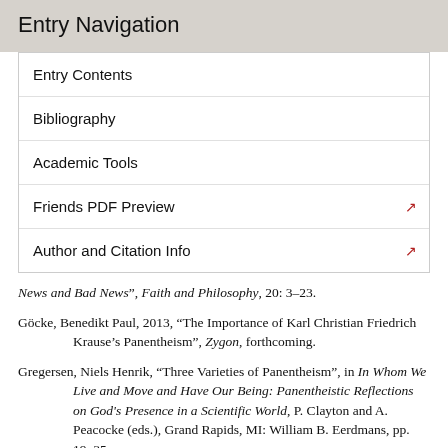Entry Navigation
Entry Contents
Bibliography
Academic Tools
Friends PDF Preview
Author and Citation Info
News and Bad News”, Faith and Philosophy, 20: 3–23.
Göcke, Benedikt Paul, 2013, “The Importance of Karl Christian Friedrich Krause’s Panentheism”, Zygon, forthcoming.
Gregersen, Niels Henrik, “Three Varieties of Panentheism”, in In Whom We Live and Move and Have Our Being: Panentheistic Reflections on God's Presence in a Scientific World, P. Clayton and A. Peacocke (eds.), Grand Rapids, MI: William B. Eerdmans, pp. 19–35.